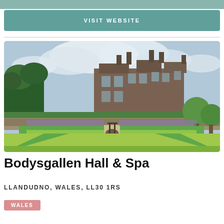VISIT WEBSITE
[Figure (photo): Aerial view of Bodysgallen Hall, a stone manor house surrounded by formal knot gardens with clipped hedges, a well feature, and lavender borders under a cloudy sky.]
Bodysgallen Hall & Spa
LLANDUDNO, WALES, LL30 1RS
WALES